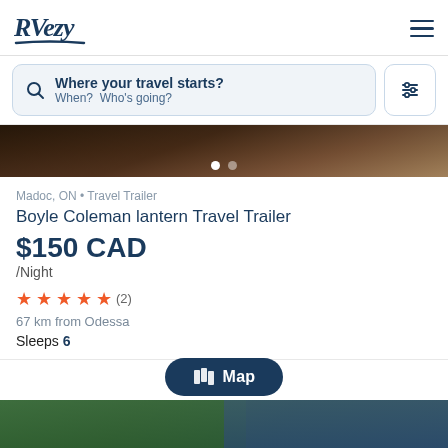RVezy
Where your travel starts? When? Who's going?
[Figure (photo): Interior RV photo, dark tones, with two pagination dots below]
Madoc, ON • Travel Trailer
Boyle Coleman lantern Travel Trailer
$150 CAD /Night
★★★★★ (2)
67 km from Odessa
Sleeps 6
[Figure (photo): Bottom partial photo of outdoor scene with trees and vehicle]